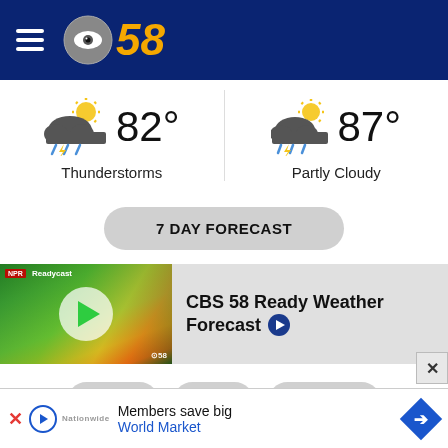CBS 58
[Figure (illustration): Weather forecast widget showing two conditions: Thunderstorms at 82° and Partly Cloudy at 87°, each with weather icon]
82°
Thunderstorms
87°
Partly Cloudy
7 DAY FORECAST
[Figure (screenshot): CBS 58 Ready Weather Forecast video thumbnail showing meteorologist in front of radar map with play button overlay]
CBS 58 Ready Weather Forecast
RADAR
MAPS
CAMERAS
Members save big World Market